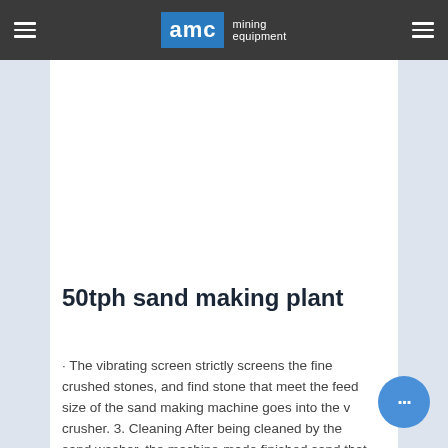AMC mining equipment
[Figure (photo): White blank image placeholder area for 50tph sand making plant]
50tph sand making plant
· The vibrating screen strictly screens the fine crushed stones, and find stone that meet the feed size of the sand making machine goes into the vsi crusher. 3. Cleaning After being cleaned by the sand washer, the machine-made finished sand that